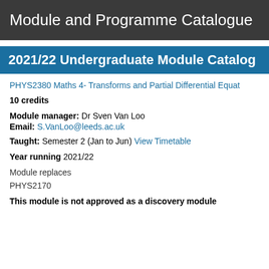Module and Programme Catalogue
2021/22 Undergraduate Module Catalogue
PHYS2380 Maths 4- Transforms and Partial Differential Equations
10 credits
Module manager: Dr Sven Van Loo
Email: S.VanLoo@leeds.ac.uk
Taught: Semester 2 (Jan to Jun) View Timetable
Year running 2021/22
Module replaces
PHYS2170
This module is not approved as a discovery module